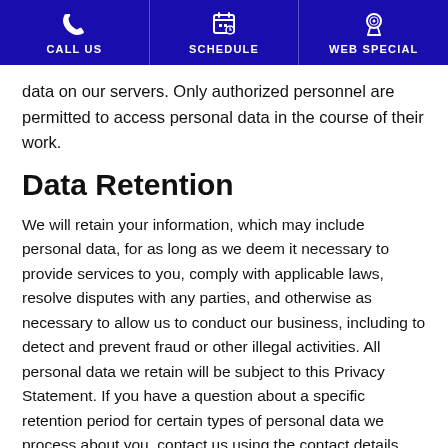CALL US | SCHEDULE | WEB SPECIAL
data on our servers. Only authorized personnel are permitted to access personal data in the course of their work.
Data Retention
We will retain your information, which may include personal data, for as long as we deem it necessary to provide services to you, comply with applicable laws, resolve disputes with any parties, and otherwise as necessary to allow us to conduct our business, including to detect and prevent fraud or other illegal activities. All personal data we retain will be subject to this Privacy Statement. If you have a question about a specific retention period for certain types of personal data we process about you, contact us using the contact details included below.